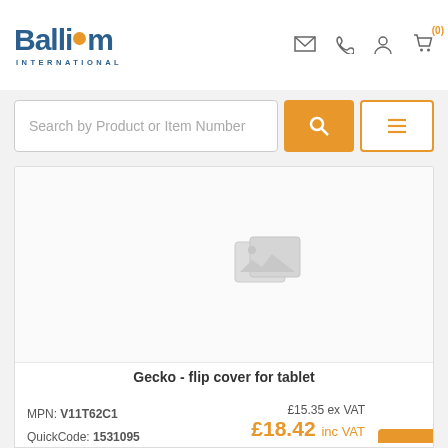[Figure (logo): Ballicom International logo with orange dot accent]
Search by Product or Item Number
[Figure (photo): Product image placeholder with grey image icon for Gecko flip cover for tablet]
Gecko - flip cover for tablet
MPN: V11T62C1
QuickCode: 1531095
£15.35 ex VAT
£18.42 inc VAT
View Details ▶
Qty Available: 6